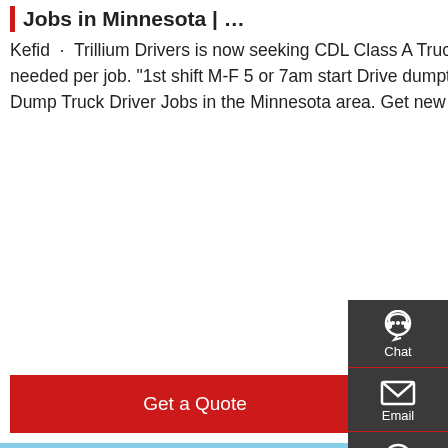Jobs in Minnesota | …
Kefid · Trillium Drivers is now seeking CDL Class A Truck Drives to operate a dump truck/flatbed/pickup as needed per job. "1st shift M-F 5 or 7am start Drive dumptruck/flatbed/pickup as needed per job 11,364+ Dump Truck Driver Jobs in the Minnesota area. Get new jobs emailed to you daily. Get Notified.
Get a Quote
[Figure (photo): Red SITRAK dump truck parked outdoors with blue sky background]
[Figure (infographic): Side panel with Chat, Email, Contact, and Top navigation icons on dark grey background]